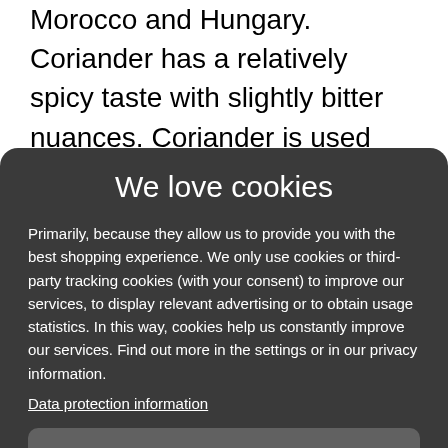Morocco and Hungary. Coriander has a relatively spicy taste with slightly bitter nuances. Coriander is used primarily for
We love cookies
Primarily, because they allow us to provide you with the best shopping experience. We only use cookies or third-party tracking cookies (with your consent) to improve our services, to display relevant advertising or to obtain usage statistics. In this way, cookies help us constantly improve our services. Find out more in the settings or in our privacy information.
Data protection information
Settings
Reject all
Accept all